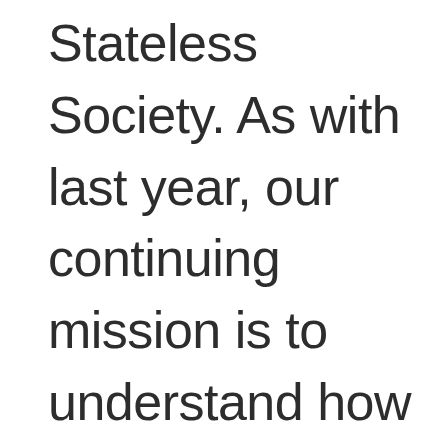Stateless Society. As with last year, our continuing mission is to understand how various forms of informational